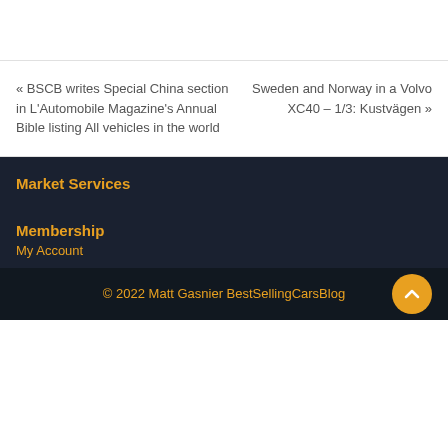« BSCB writes Special China section in L'Automobile Magazine's Annual Bible listing All vehicles in the world
Sweden and Norway in a Volvo XC40 – 1/3: Kustvägen »
Market Services
Membership
My Account
© 2022 Matt Gasnier BestSellingCarsBlog